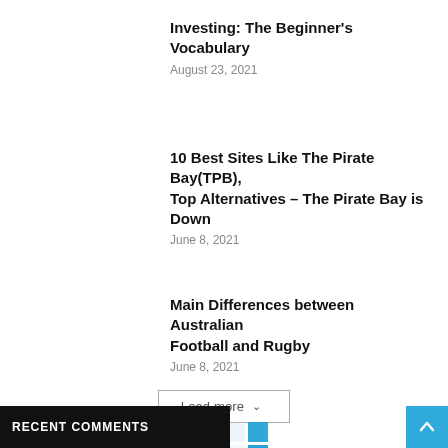Investing: The Beginner's Vocabulary
August 23, 2021
10 Best Sites Like The Pirate Bay(TPB), Top Alternatives – The Pirate Bay is Down
June 8, 2021
Main Differences between Australian Football and Rugby
June 8, 2021
RECENT COMMENTS